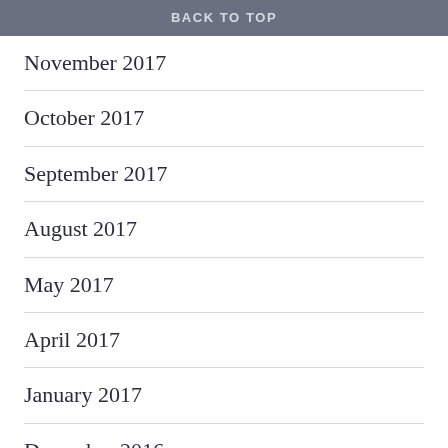BACK TO TOP
November 2017
October 2017
September 2017
August 2017
May 2017
April 2017
January 2017
December 2016
November 2016